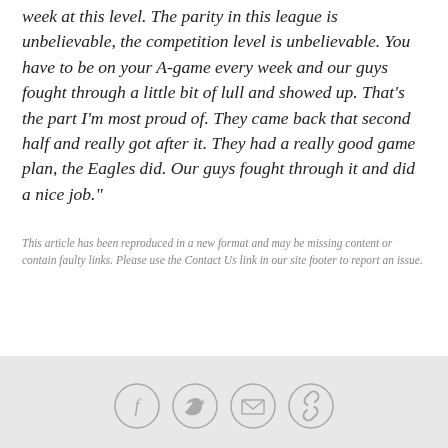week at this level. The parity in this league is unbelievable, the competition level is unbelievable. You have to be on your A-game every week and our guys fought through a little bit of lull and showed up. That's the part I'm most proud of. They came back that second half and really got after it. They had a really good game plan, the Eagles did. Our guys fought through it and did a nice job."
This article has been reproduced in a new format and may be missing content or contain faulty links. Please use the Contact Us link in our site footer to report an issue.
[Figure (other): Row of four social media / share icon circles: Facebook (f), Twitter (bird), Email (envelope), Link (chain link)]